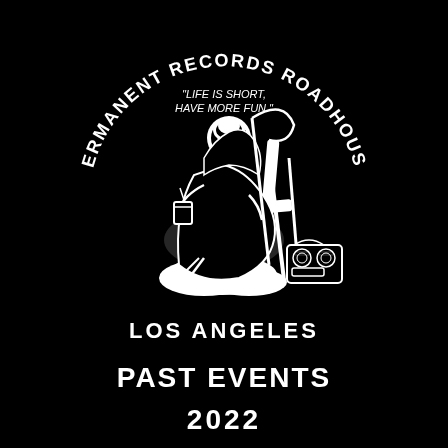[Figure (logo): Permanent Records Roadhouse circular logo with grim reaper skeleton sitting in a beach chair holding a drink, with a boombox beside it and a scythe leaning on the chair. Arched text reads 'PERMANENT RECORDS ROADHOUSE' at top, with quote 'LIFE IS SHORT, HAVE MORE FUN.' in the center above the figure. Black background with white illustration.]
LOS ANGELES
PAST EVENTS
2022